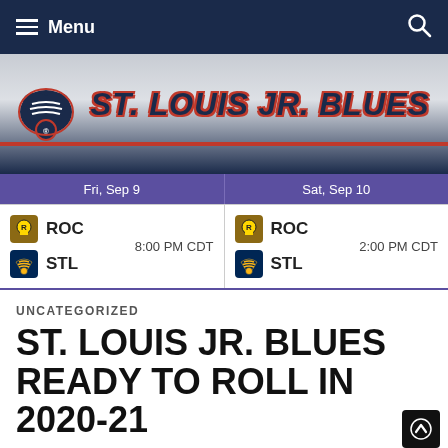Menu
[Figure (logo): St. Louis Jr. Blues banner logo with blue note and team name in italic bold]
| Fri, Sep 9 | Sat, Sep 10 |
| --- | --- |
| ROC vs STL  8:00 PM CDT | ROC vs STL  2:00 PM CDT |
UNCATEGORIZED
ST. LOUIS JR. BLUES READY TO ROLL IN 2020-21